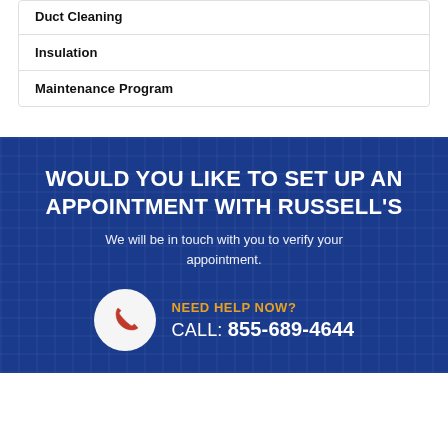Duct Cleaning
Insulation
Maintenance Program
WOULD YOU LIKE TO SET UP AN APPOINTMENT WITH RUSSELL'S
We will be in touch with you to verify your appointment.
NEED HELP NOW?
CALL: 855-689-4644